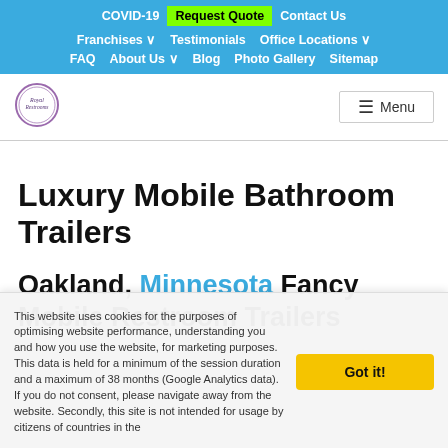COVID-19 | Request Quote | Contact Us | Franchises | Testimonials | Office Locations | FAQ | About Us | Blog | Photo Gallery | Sitemap
[Figure (logo): Royal Restrooms circular logo with decorative border]
Luxury Mobile Bathroom Trailers
Oakland, Minnesota Fancy Mobile Restroom Trailers
This website uses cookies for the purposes of optimising website performance, understanding you and how you use the website, for marketing purposes. This data is held for a minimum of the session duration and a maximum of 38 months (Google Analytics data). If you do not consent, please navigate away from the website. Secondly, this site is not intended for usage by citizens of countries in the